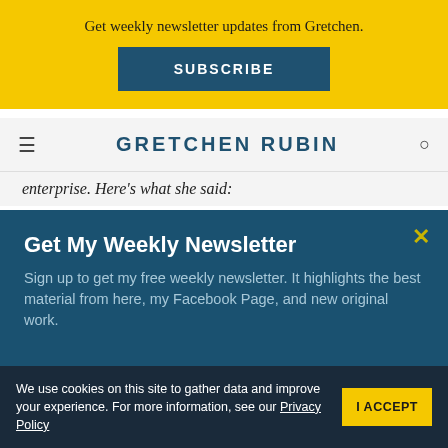Get weekly newsletter updates from Gretchen.
SUBSCRIBE
GRETCHEN RUBIN
enterprise. Here's what she said:
Get My Weekly Newsletter
Sign up to get my free weekly newsletter. It highlights the best material from here, my Facebook Page, and new original work.
We use cookies on this site to gather data and improve your experience. For more information, see our Privacy Policy
I ACCEPT